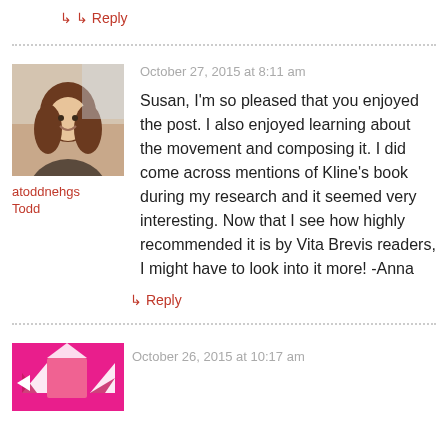↳ Reply
[Figure (photo): Avatar photo of a young woman with curly brown hair, smiling]
atoddnehgs Todd
October 27, 2015 at 8:11 am
Susan, I'm so pleased that you enjoyed the post. I also enjoyed learning about the movement and composing it. I did come across mentions of Kline's book during my research and it seemed very interesting. Now that I see how highly recommended it is by Vita Brevis readers, I might have to look into it more! -Anna
↳ Reply
[Figure (illustration): Pink geometric avatar icon with triangle shapes]
October 26, 2015 at 10:17 am